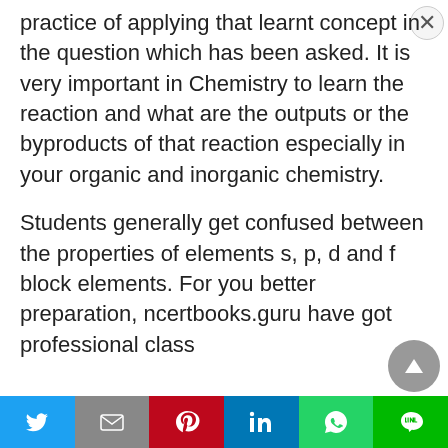practice of applying that learnt concept in the question which has been asked. It is very important in Chemistry to learn the reaction and what are the outputs or the byproducts of that reaction especially in your organic and inorganic chemistry.
Students generally get confused between the properties of elements s, p, d and f block elements. For you better preparation, ncertbooks.guru have got professional class